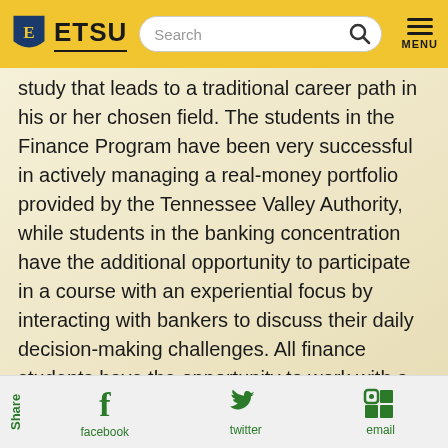ETSU — navigation bar with search and menu
study that leads to a traditional career path in his or her chosen field. The students in the Finance Program have been very successful in actively managing a real-money portfolio provided by the Tennessee Valley Authority, while students in the banking concentration have the additional opportunity to participate in a course with an experiential focus by interacting with bankers to discuss their daily decision-making challenges. All finance students have the opportunity to work with a team of students and present a case study analysis of current challenges in finance.

For students who prefer not to study in a
Share  facebook  twitter  email